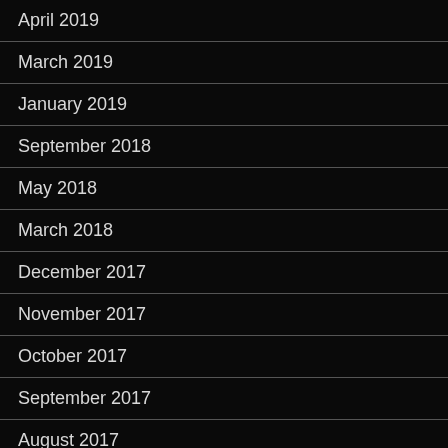April 2019
March 2019
January 2019
September 2018
May 2018
March 2018
December 2017
November 2017
October 2017
September 2017
August 2017
July 2017
June 2017